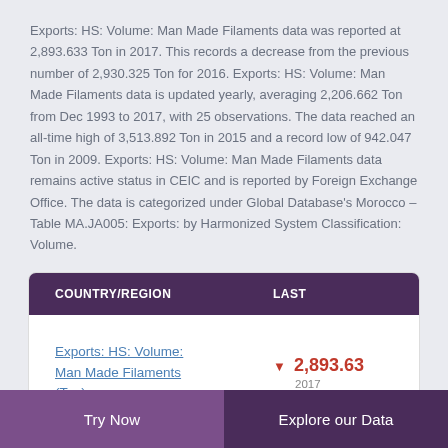Exports: HS: Volume: Man Made Filaments data was reported at 2,893.633 Ton in 2017. This records a decrease from the previous number of 2,930.325 Ton for 2016. Exports: HS: Volume: Man Made Filaments data is updated yearly, averaging 2,206.662 Ton from Dec 1993 to 2017, with 25 observations. The data reached an all-time high of 3,513.892 Ton in 2015 and a record low of 942.047 Ton in 2009. Exports: HS: Volume: Man Made Filaments data remains active status in CEIC and is reported by Foreign Exchange Office. The data is categorized under Global Database's Morocco – Table MA.JA005: Exports: by Harmonized System Classification: Volume.
| COUNTRY/REGION | LAST |
| --- | --- |
| Exports: HS: Volume: Man Made Filaments (Ton) | ▼ 2,893.63
2017 |
Try Now   Explore our Data